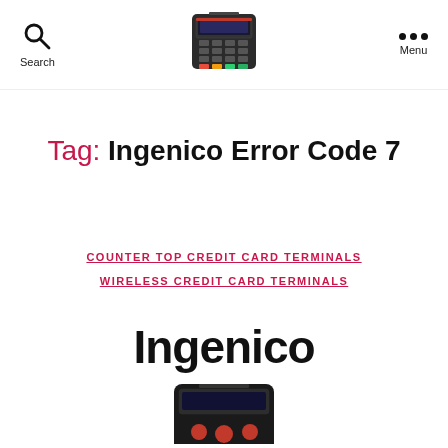Search | [Ingenico terminal logo] | Menu
Tag: Ingenico Error Code 7
COUNTER TOP CREDIT CARD TERMINALS
WIRELESS CREDIT CARD TERMINALS
Ingenico
[Figure (photo): Ingenico credit card terminal device, viewed from above at an angle, showing keypad and screen, positioned at top center of page]
[Figure (photo): Ingenico credit card terminal device, partially visible at bottom of page, showing top portion of device with red buttons]